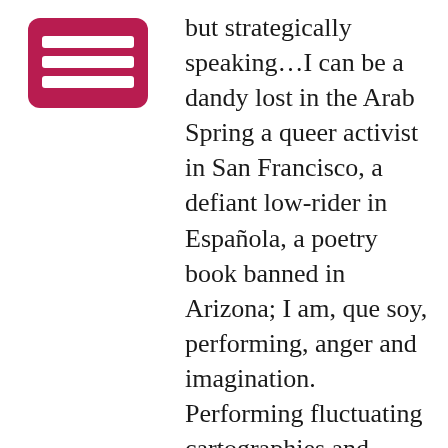[Figure (logo): A dark red/crimson rounded rectangle icon containing three horizontal white lines, resembling a menu or list symbol.]
but strategically speaking…I can be a dandy lost in the Arab Spring a queer activist in San Francisco, a defiant low-rider in Española, a poetry book banned in Arizona; I am, que soy, performing, anger and imagination. Performing fluctuating cartographies and